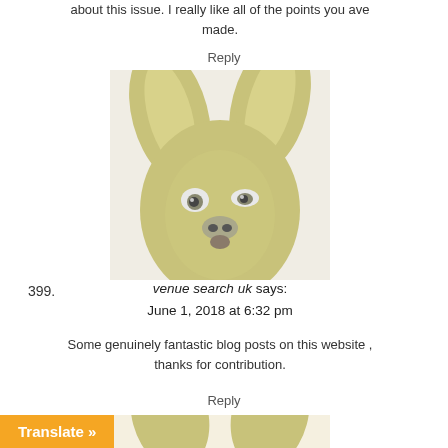about this issue. I really like all of the points you ave made.
Reply
[Figure (photo): Avatar image of a stylized animal face (kangaroo-like creature) with large ears, looking forward]
399.
venue search uk says: June 1, 2018 at 6:32 pm
Some genuinely fantastic blog posts on this website , thanks for contribution.
Reply
[Figure (photo): Partial avatar image of same stylized animal at bottom of page]
Translate »